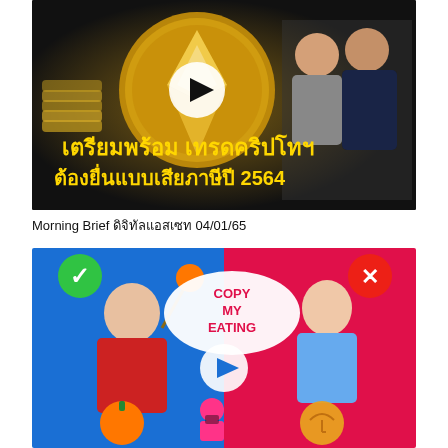[Figure (screenshot): YouTube thumbnail: Cryptocurrency trading tax filing in Thailand. Dark background with gold Ethereum coin, stacks of gold coins, two men in business attire. Yellow Thai text: เตรียมพร้อม เทรดคริปโทฯ ต้องยื่นแบบเสียภาษีปี 2564. White play button circle overlay.]
Morning Brief ดิจิทัลแอสเซท 04/01/65
[Figure (screenshot): YouTube thumbnail: Copy My Eating challenge video. Split blue/red background. Left side: woman in red holding persimmon fruit on stick with green checkmark. Right side: girl in blue with red X. Center: speech bubble text COPY MY EATING in red. Blue/white play button circle. Squid Game figurine and orange umbrella cookie at bottom.]